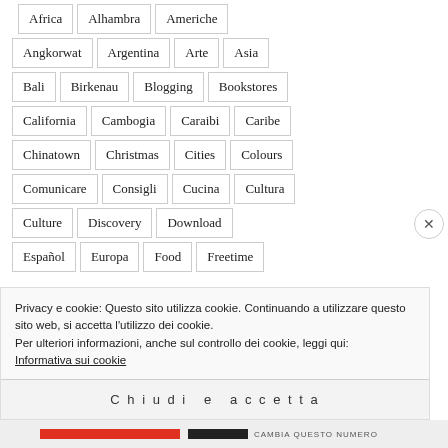Africa
Alhambra
Americhe
Angkorwat
Argentina
Arte
Asia
Bali
Birkenau
Blogging
Bookstores
California
Cambogia
Caraibi
Caribe
Chinatown
Christmas
Cities
Colours
Comunicare
Consigli
Cucina
Cultura
Culture
Discovery
Download
Español
Europa
Food
Freetime
Privacy e cookie: Questo sito utilizza cookie. Continuando a utilizzare questo sito web, si accetta l'utilizzo dei cookie.
Per ulteriori informazioni, anche sul controllo dei cookie, leggi qui:
Informativa sui cookie
Chiudi e accetta